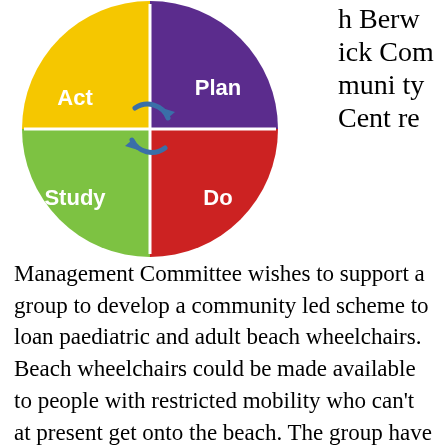[Figure (infographic): PDSA cycle diagram: a circle divided into 4 quadrants. Top-left: yellow 'Act', top-right: purple 'Plan', bottom-left: green 'Study', bottom-right: red 'Do'. A blue arrow curves clockwise in the center.]
h Berwick Community Centre
Management Committee wishes to support a group to develop a community led scheme to loan paediatric and adult beach wheelchairs. Beach wheelchairs could be made available to people with restricted mobility who can't at present get onto the beach. The group have carried out a